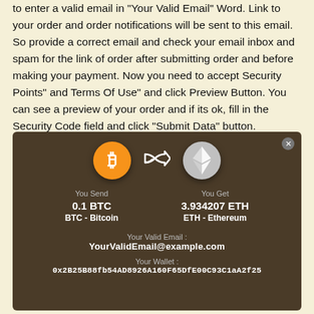to enter a valid email in "Your Valid Email" Word. Link to your order and order notifications will be sent to this email. So provide a correct email and check your email inbox and spam for the link of order after submitting order and before making your payment. Now you need to accept Security Points" and Terms Of Use" and click Preview Button. You can see a preview of your order and if its ok, fill in the Security Code field and click "Submit Data" button.
[Figure (screenshot): A cryptocurrency exchange preview widget on a dark brown background showing a conversion of 0.1 BTC (Bitcoin) to 3.934207 ETH (Ethereum) with a shuffle/swap icon between coin logos, along with a valid email field showing YourValidEmail@example.com and a wallet address 0x2B25B88fb54AD8926A160F65DfE00C93C1aA2f25.]